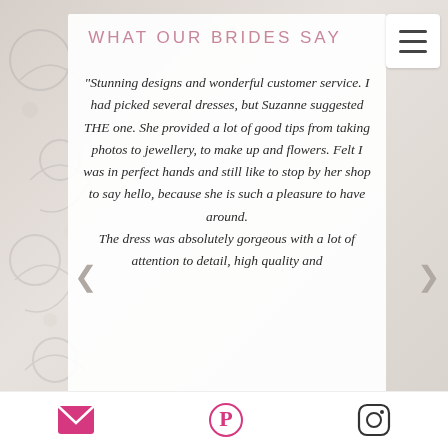WHAT OUR BRIDES SAY
“Stunning designs and wonderful customer service. I had picked several dresses, but Suzanne suggested THE one. She provided a lot of good tips from taking photos to jewellery, to make up and flowers. Felt I was in perfect hands and still like to stop by her shop to say hello, because she is such a pleasure to have around.
The dress was absolutely gorgeous with a lot of attention to detail, high quality and
[Figure (other): Decorative floral/scroll background on left side of page]
Email icon, Pinterest icon, Instagram icon